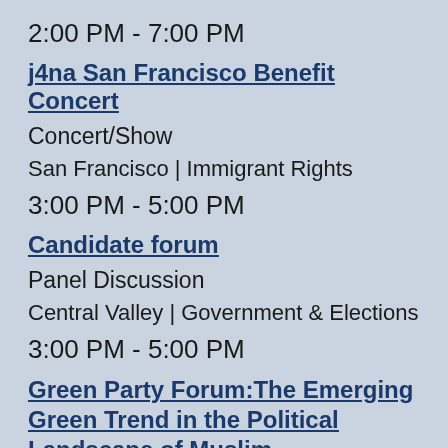2:00 PM - 7:00 PM
j4na San Francisco Benefit Concert
Concert/Show
San Francisco | Immigrant Rights
3:00 PM - 5:00 PM
Candidate forum
Panel Discussion
Central Valley | Government & Elections
3:00 PM - 5:00 PM
Green Party Forum:The Emerging Green Trend in the Political Landscape of Muslim-